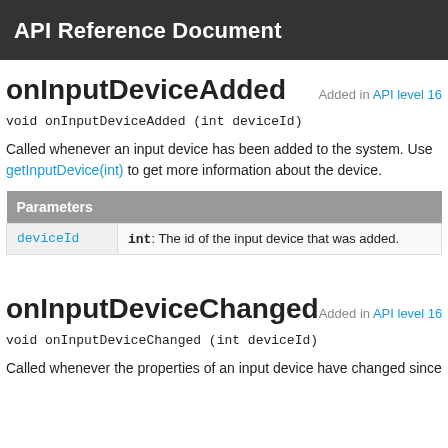API Reference Document
onInputDeviceAdded
Added in API level 16
Called whenever an input device has been added to the system. Use getInputDevice(int) to get more information about the device.
| Parameters |
| --- |
| deviceId | int: The id of the input device that was added. |
onInputDeviceChanged
Added in API level 16
Called whenever the properties of an input device have changed since